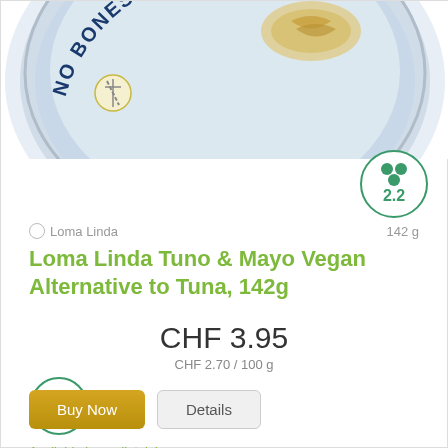[Figure (photo): Top portion of a circular product can lid showing 'NO BONES ABOUT IT!' text on a light blue/white can label with a fish image]
[Figure (infographic): Green circular rating badge showing a cluster icon and the number 2.2]
Loma Linda
142 g
Loma Linda Tuno & Mayo Vegan Alternative to Tuna, 142g
CHF 3.95
CHF 2.70 / 100 g
[Figure (infographic): Green circular icon with a car/delivery vehicle symbol inside]
Available immediately!
Buy Now
Details